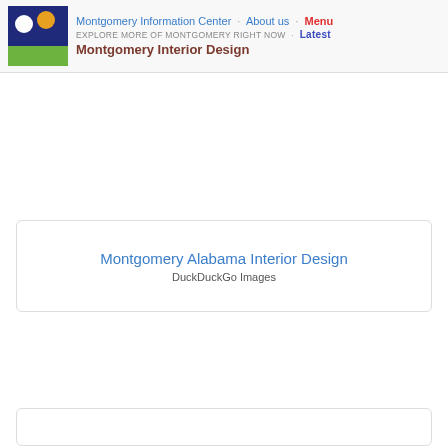Montgomery Information Center · About us · Menu
EXPLORE MORE OF MONTGOMERY RIGHT NOW · Latest
Montgomery Interior Design
Montgomery Alabama Interior Design
DuckDuckGo Images